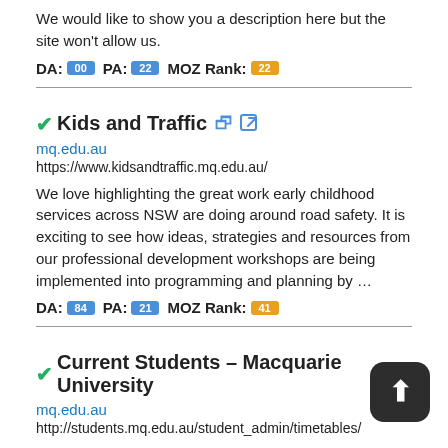We would like to show you a description here but the site won't allow us.
DA:  00  PA:  22  MOZ Rank:  22
✔Kids and Traffic 🔗
mq.edu.au
https://www.kidsandtraffic.mq.edu.au/
We love highlighting the great work early childhood services across NSW are doing around road safety. It is exciting to see how ideas, strategies and resources from our professional development workshops are being implemented into programming and planning by …
DA:  84  PA:  21  MOZ Rank:  41
✔Current Students – Macquarie University 🔗
mq.edu.au
http://students.mq.edu.au/student_admin/timetables/
We would like to show you a description here but the site won't allow us.